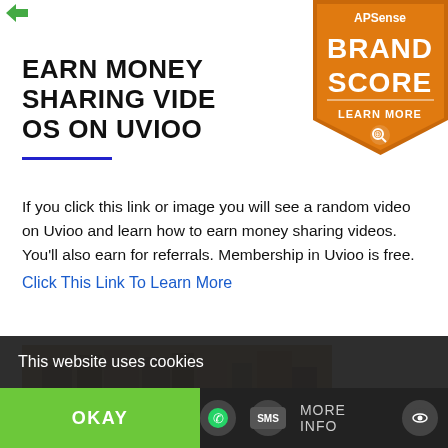[Figure (logo): Small green arrow/logo icon top left]
[Figure (infographic): APSense Brand Score badge - orange pentagon shape with text BRAND SCORE LEARN MORE]
EARN MONEY SHARING VIDEOS ON UVIOO
If you click this link or image you will see a random video on Uvioo and learn how to earn money sharing videos. You'll also earn for referrals. Membership in Uvioo is free. Click This Link To Learn More
[Figure (photo): City skyline with tall buildings against a hazy sky, silhouettes of people in foreground]
This website uses cookies
OKAY
MORE INFO